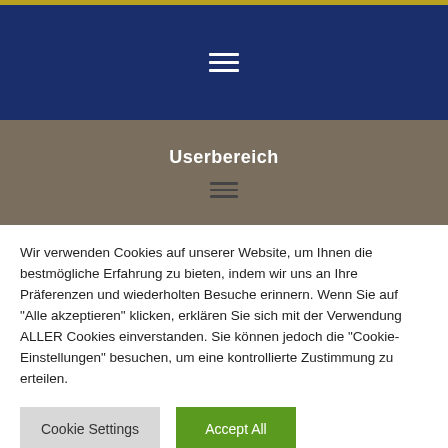[Figure (screenshot): Top gold/yellow horizontal bar]
[Figure (screenshot): Dark blue navigation header with white hamburger menu icon]
Userbereich
[Figure (screenshot): Dark hamburger/menu icon on gray background]
Wir verwenden Cookies auf unserer Website, um Ihnen die bestmögliche Erfahrung zu bieten, indem wir uns an Ihre Präferenzen und wiederholten Besuche erinnern. Wenn Sie auf "Alle akzeptieren" klicken, erklären Sie sich mit der Verwendung ALLER Cookies einverstanden. Sie können jedoch die "Cookie-Einstellungen" besuchen, um eine kontrollierte Zustimmung zu erteilen.
Cookie Settings
Accept All